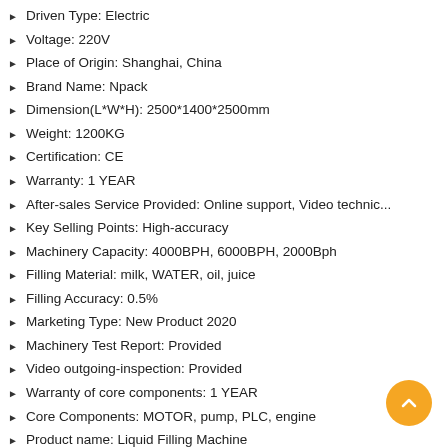Driven Type: Electric
Voltage: 220V
Place of Origin: Shanghai, China
Brand Name: Npack
Dimension(L*W*H): 2500*1400*2500mm
Weight: 1200KG
Certification: CE
Warranty: 1 YEAR
After-sales Service Provided: Online support, Video technic...
Key Selling Points: High-accuracy
Machinery Capacity: 4000BPH, 6000BPH, 2000Bph
Filling Material: milk, WATER, oil, juice
Filling Accuracy: 0.5%
Marketing Type: New Product 2020
Machinery Test Report: Provided
Video outgoing-inspection: Provided
Warranty of core components: 1 YEAR
Core Components: MOTOR, pump, PLC, engine
Product name: Liquid Filling Machine